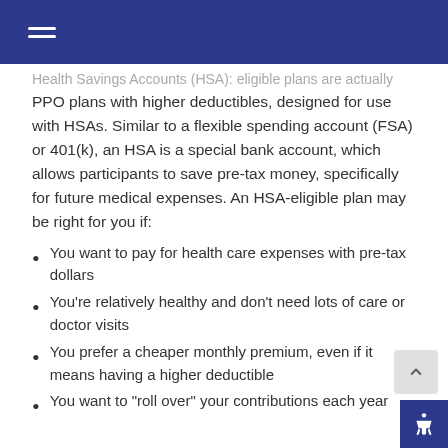Health Savings Accounts (HSA): eligible plans are actually PPO plans with higher deductibles, designed for use with HSAs. Similar to a flexible spending account (FSA) or 401(k), an HSA is a special bank account, which allows participants to save pre-tax money, specifically for future medical expenses. An HSA-eligible plan may be right for you if:
You want to pay for health care expenses with pre-tax dollars
You’re relatively healthy and don’t need lots of care or doctor visits
You prefer a cheaper monthly premium, even if it means having a higher deductible
You want to “roll over” your contributions each year